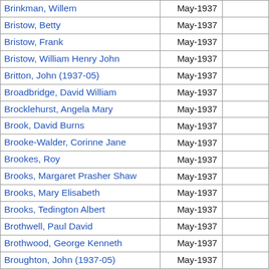| Name | Date |  |
| --- | --- | --- |
| Brinkman, Willem | May-1937 |  |
| Bristow, Betty | May-1937 |  |
| Bristow, Frank | May-1937 |  |
| Bristow, William Henry John | May-1937 |  |
| Britton, John (1937-05) | May-1937 |  |
| Broadbridge, David William | May-1937 |  |
| Brocklehurst, Angela Mary | May-1937 |  |
| Brook, David Burns | May-1937 |  |
| Brooke-Walder, Corinne Jane | May-1937 |  |
| Brookes, Roy | May-1937 |  |
| Brooks, Margaret Prasher Shaw | May-1937 |  |
| Brooks, Mary Elisabeth | May-1937 |  |
| Brooks, Tedington Albert | May-1937 |  |
| Brothwell, Paul David | May-1937 |  |
| Brothwood, George Kenneth | May-1937 |  |
| Broughton, John (1937-05) | May-1937 |  |
| Brown, Angelamargaret | May-1937 |  |
| Brown, Dennis (1937-05) | May-1937 |  |
| Brown, Gillian (1937-05) | May-1937 |  |
| Brown, Gordon Michael | May-1937 |  |
| Brown, Gordon Watson | May-1937 |  |